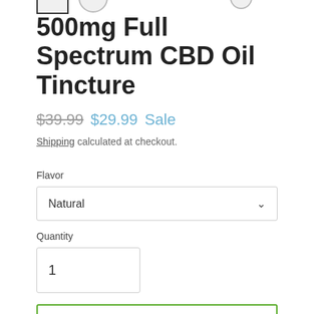[Figure (screenshot): Partial product image thumbnails at top of page, showing a selected thumbnail (square border) and additional image circles]
500mg Full Spectrum CBD Oil Tincture
$39.99  $29.99 Sale
Shipping calculated at checkout.
Flavor
Natural
Quantity
1
ADD TO CART